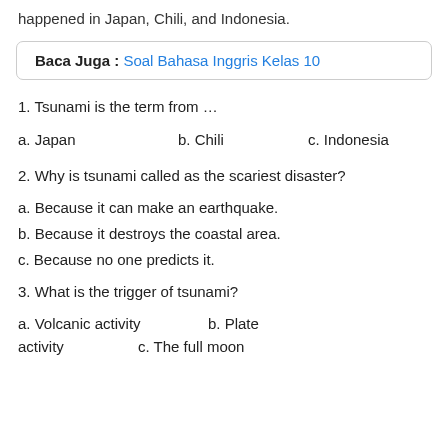happened in Japan, Chili, and Indonesia.
Baca Juga : Soal Bahasa Inggris Kelas 10
1. Tsunami is the term from …
a. Japan    b. Chili    c. Indonesia
2. Why is tsunami called as the scariest disaster?
a. Because it can make an earthquake.
b. Because it destroys the coastal area.
c. Because no one predicts it.
3. What is the trigger of tsunami?
a. Volcanic activity    b. Plate activity    c. The full moon